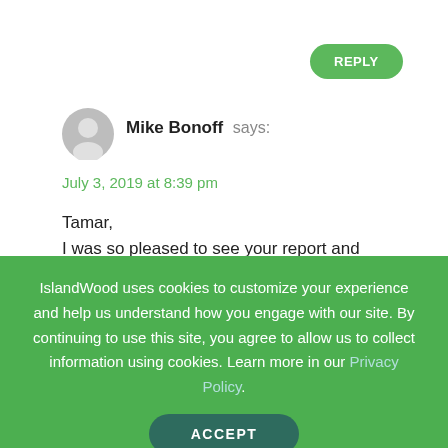REPLY
Mike Bonoff says:
July 3, 2019 at 8:39 pm
Tamar,
I was so pleased to see your report and appreciate the opportunities for learning there for students of all ages.
I monitored the plant community for 3 years (for
IslandWood uses cookies to customize your experience and help us understand how you engage with our site. By continuing to use this site, you agree to allow us to collect information using cookies. Learn more in our Privacy Policy.
ACCEPT